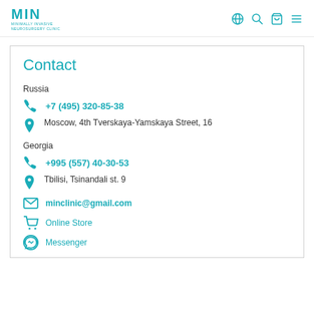MIN Minimally Invasive Neurosurgery Clinic — navigation header with globe, search, cart, menu icons
Contact
Russia
+7 (495) 320-85-38
Moscow, 4th Tverskaya-Yamskaya Street, 16
Georgia
+995 (557) 40-30-53
Tbilisi, Tsinandali st. 9
minclinic@gmail.com
Online Store
Messenger